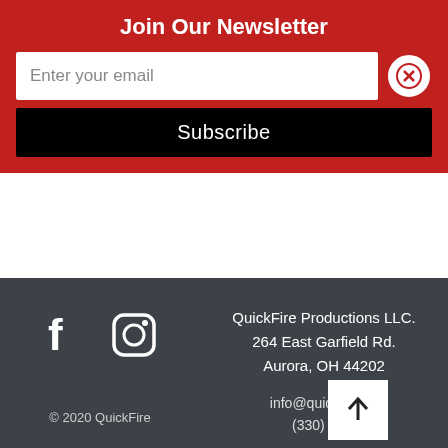Join Our Newsletter
Enter your email
Subscribe
Send
QuickFire Productions LLC.
264 East Garfield Rd.
Aurora, OH 44202
info@quickfire[...]
(330) 34[...]
© 2020 QuickFire